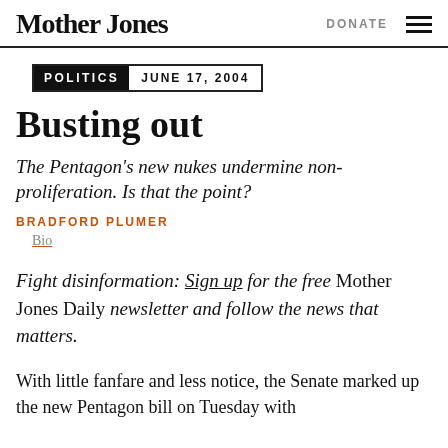Mother Jones | DONATE
POLITICS  JUNE 17, 2004
Busting out
The Pentagon's new nukes undermine non-proliferation. Is that the point?
BRADFORD PLUMER
Bio
Fight disinformation: Sign up for the free Mother Jones Daily newsletter and follow the news that matters.
With little fanfare and less notice, the Senate marked up the new Pentagon bill on Tuesday with